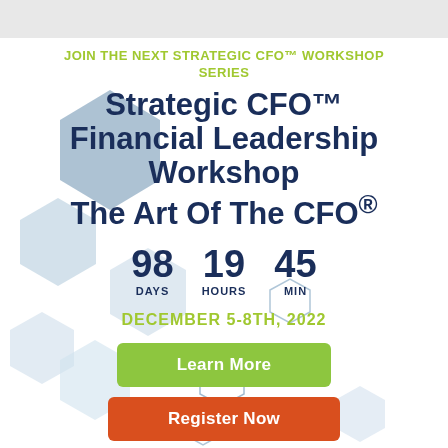JOIN THE NEXT STRATEGIC CFO™ WORKSHOP SERIES
Strategic CFO™ Financial Leadership Workshop The Art Of The CFO®
98 DAYS  19 HOURS  45 MIN
DECEMBER 5-8TH, 2022
Learn More
Register Now